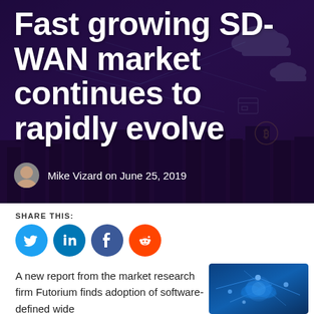[Figure (photo): Hero image with dark purple/blue network and city skyline background with glowing IoT/cloud technology icons overlay]
Fast growing SD-WAN market continues to rapidly evolve
Mike Vizard on June 25, 2019
SHARE THIS:
[Figure (infographic): Social share icons: Twitter (blue circle), LinkedIn (teal circle), Facebook (dark blue circle), Reddit (orange circle)]
A new report from the market research firm Futorium finds adoption of software-defined wide
[Figure (photo): Blue technology network/cloud computing illustration image]